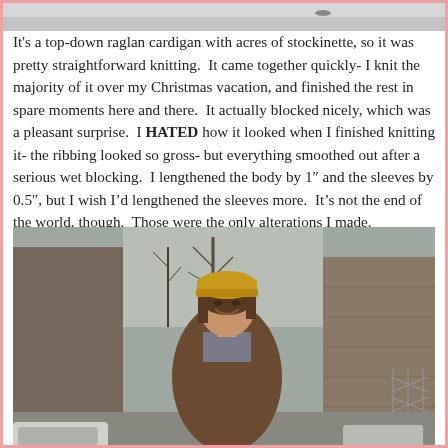[Figure (photo): Partial top photo visible at top of page, appears to be an outdoor winter scene, only bottom edge visible]
It’s a top-down raglan cardigan with acres of stockinette, so it was pretty straightforward knitting. It came together quickly- I knit the majority of it over my Christmas vacation, and finished the rest in spare moments here and there. It actually blocked nicely, which was a pleasant surprise. I HATED how it looked when I finished knitting it- the ribbing looked so gross- but everything smoothed out after a serious wet blocking. I lengthened the body by 1” and the sleeves by 0.5”, but I wish I’d lengthened the sleeves more. It’s not the end of the world, though. Those were the only alterations I made.
[Figure (photo): Photo of a young woman smiling, wearing a yellow/mustard knit hat, plaid shirt, and brown cardigan, standing outdoors in winter with bare trees and brick buildings in the background]